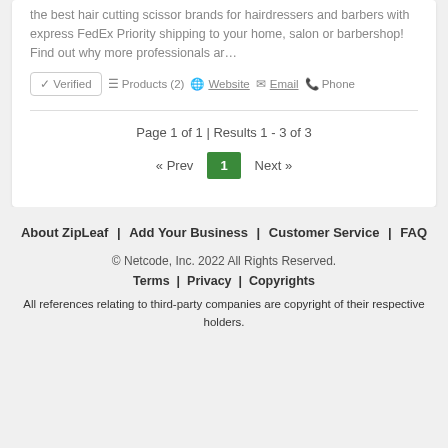the best hair cutting scissor brands for hairdressers and barbers with express FedEx Priority shipping to your home, salon or barbershop! Find out why more professionals ar…
✔ Verified  ≡ Products (2)  🌐 Website  ✉ Email  📞 Phone
Page 1 of 1 | Results 1 - 3 of 3
« Prev  1  Next »
About ZipLeaf  |  Add Your Business  |  Customer Service  |  FAQ
© Netcode, Inc. 2022 All Rights Reserved.
Terms  |  Privacy  |  Copyrights
All references relating to third-party companies are copyright of their respective holders.